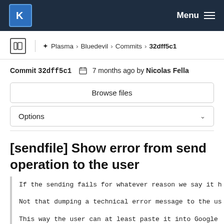KDE — Menu
Plasma › Bluedevil › Commits › 32dff5c1
Commit 32dff5c1  7 months ago by Nicolas Fella
Browse files
Options
[sendfile] Show error from send operation to the user
If the sending fails for whatever reason we say it h
Not that dumping a technical error message to the us
This way the user can at least paste it into Google